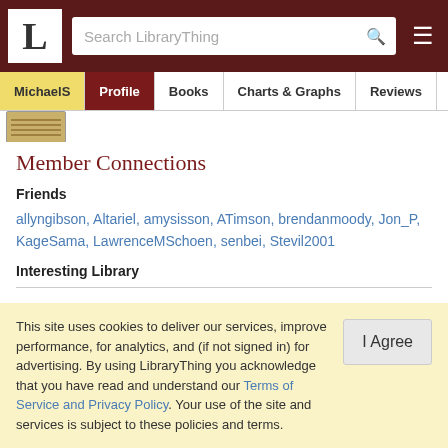LibraryThing header with logo, search bar, and navigation tabs: MichaelS, Profile, Books, Charts & Graphs, Reviews
Member Connections
Friends
allyngibson, Altariel, amysisson, ATimson, brendanmoody, Jon_P, KageSama, LawrenceMSchoen, senbei, Stevil2001
Interesting Library
This site uses cookies to deliver our services, improve performance, for analytics, and (if not signed in) for advertising. By using LibraryThing you acknowledge that you have read and understand our Terms of Service and Privacy Policy. Your use of the site and services is subject to these policies and terms.